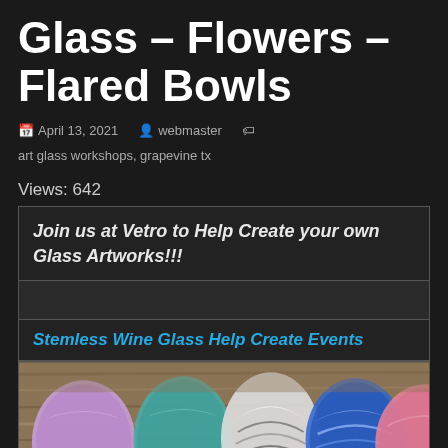Glass – Flowers – Flared Bowls
📅 April 13, 2021   👤 webmaster   🏷️ art glass workshops, grapevine tx
Views: 642
Join us at Vetro to Help Create your own Glass Artworks!!!
Stemless Wine Glass Help Create Events
[Figure (photo): Five colorful hand-blown stemless wine glasses arranged on a wooden deck surface. Colors include purple/lavender, teal, white/black swirl, blue swirl, and pink/rose.]